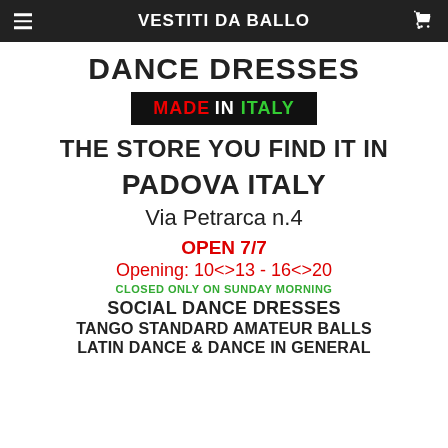VESTITI DA BALLO
DANCE DRESSES
[Figure (logo): Black box with MADE IN ITALY text: MADE in red, IN in white, ITALY in green]
THE STORE YOU FIND IT IN
PADOVA ITALY
Via Petrarca n.4
OPEN 7/7
Opening: 10<>13 - 16<>20
CLOSED ONLY ON SUNDAY MORNING
SOCIAL DANCE DRESSES
TANGO STANDARD AMATEUR BALLS
LATIN DANCE & DANCE IN GENERAL